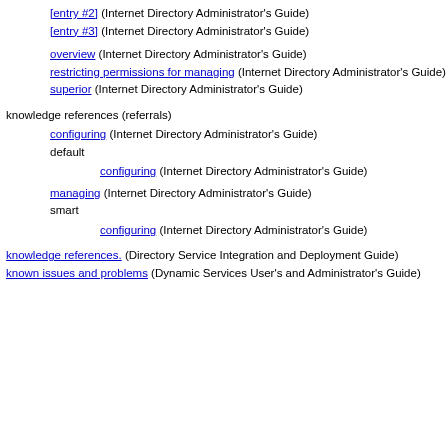[entry #2] (Internet Directory Administrator's Guide)
[entry #3] (Internet Directory Administrator's Guide)
overview (Internet Directory Administrator's Guide)
restricting permissions for managing (Internet Directory Administrator's Guide)
superior (Internet Directory Administrator's Guide)
knowledge references (referrals)
configuring (Internet Directory Administrator's Guide)
default
configuring (Internet Directory Administrator's Guide)
managing (Internet Directory Administrator's Guide)
smart
configuring (Internet Directory Administrator's Guide)
knowledge references. (Directory Service Integration and Deployment Guide)
known issues and problems (Dynamic Services User's and Administrator's Guide)